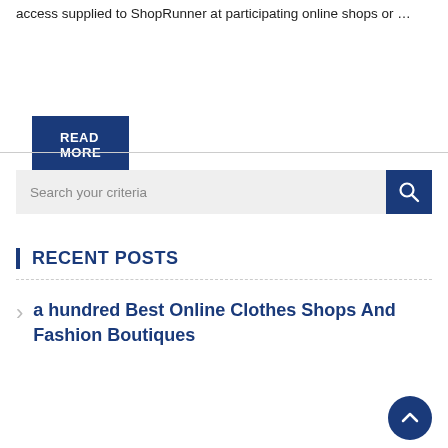access supplied to ShopRunner at participating online shops or …
READ MORE
Search your criteria
RECENT POSTS
a hundred Best Online Clothes Shops And Fashion Boutiques